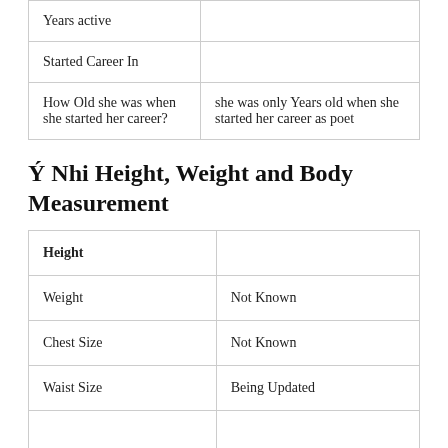| Years active |  |
| Started Career In |  |
| How Old she was when she started her career? | she was only Years old when she started her career as poet |
Ý Nhi Height, Weight and Body Measurement
| Height |  |
| Weight | Not Known |
| Chest Size | Not Known |
| Waist Size | Being Updated |